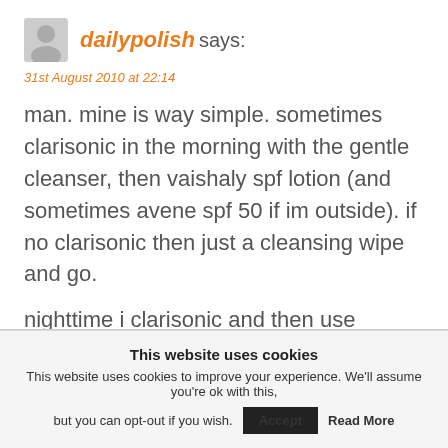[Figure (illustration): Grey silhouette avatar icon of a person]
dailypolish says:
31st August 2010 at 22:14
man. mine is way simple. sometimes clarisonic in the morning with the gentle cleanser, then vaishaly spf lotion (and sometimes avene spf 50 if im outside). if no clarisonic then just a cleansing wipe and go.
nighttime i clarisonic and then use vaishaly oil
This website uses cookies
This website uses cookies to improve your experience. We'll assume you're ok with this, but you can opt-out if you wish.
Accept
Read More